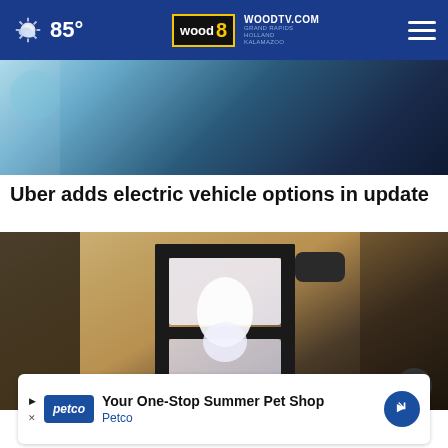85° WOODTV.COM GRAND RAPIDS HOLLAND KALAMAZOO wood 8
[Figure (screenshot): Top portion of a news website screenshot showing a blurred/close-up image with dark blue and teal tones]
Uber adds electric vehicle options in update
[Figure (photo): Close-up photo of an outdoor wall-mounted lantern light fixture on a textured stucco wall, with black metal frame and white bulb visible]
[Figure (screenshot): Advertisement banner: Your One-Stop Summer Pet Shop - Petco]